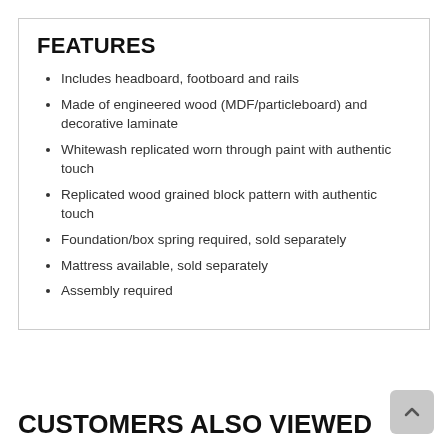FEATURES
Includes headboard, footboard and rails
Made of engineered wood (MDF/particleboard) and decorative laminate
Whitewash replicated worn through paint with authentic touch
Replicated wood grained block pattern with authentic touch
Foundation/box spring required, sold separately
Mattress available, sold separately
Assembly required
CUSTOMERS ALSO VIEWED